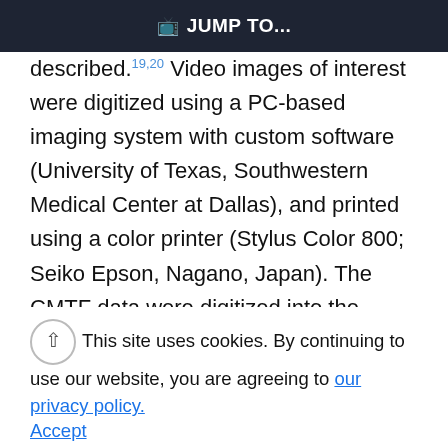⇒ JUMP TO...
described. 19,20 Video images of interest were digitized using a PC-based imaging system with custom software (University of Texas, Southwestern Medical Center at Dallas), and printed using a color printer (Stylus Color 800; Seiko Epson, Nagano, Japan). The CMTF data were digitized into the computer by custom software, and intensity profile curves were calculated. From each scan, the epithelial and total corneal thicknesses were measured. An average of three CMTF scans of each eye were performed. In 12 eyes, no acceptable CMTF profile
This site uses cookies. By continuing to use our website, you are agreeing to our privacy policy. Accept